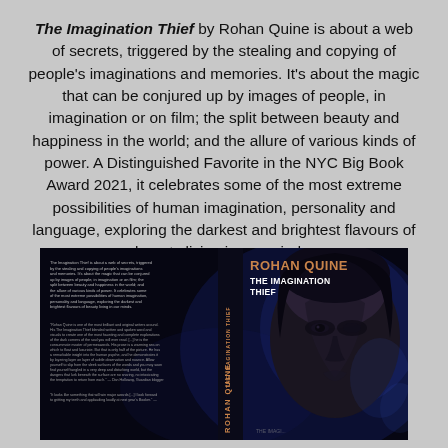The Imagination Thief by Rohan Quine is about a web of secrets, triggered by the stealing and copying of people's imaginations and memories. It's about the magic that can be conjured up by images of people, in imagination or on film; the split between beauty and happiness in the world; and the allure of various kinds of power. A Distinguished Favorite in the NYC Big Book Award 2021, it celebrates some of the most extreme possibilities of human imagination, personality and language, exploring the darkest and brightest flavours of beauty living in our minds.
[Figure (illustration): Book cover of 'The Imagination Thief' by Rohan Quine. Dark background with a close-up face of a person (mostly in shadow), author name in orange/gold on top right, book title in white below it, spine text in orange on the left side, and small descriptive text panels on the far left of the cover.]